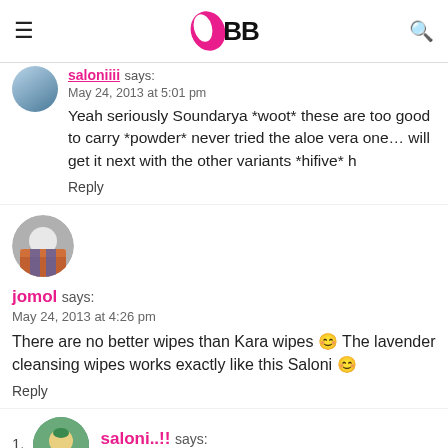IMBB
saloniiii says:
May 24, 2013 at 5:01 pm
Yeah seriously Soundarya *woot* these are too good to carry *powder* never tried the aloe vera one… will get it next with the other variants *hifive* h
Reply
jomol says:
May 24, 2013 at 4:26 pm
There are no better wipes than Kara wipes 🙂 The lavender cleansing wipes works exactly like this Saloni 🙂
Reply
saloni..!! says: